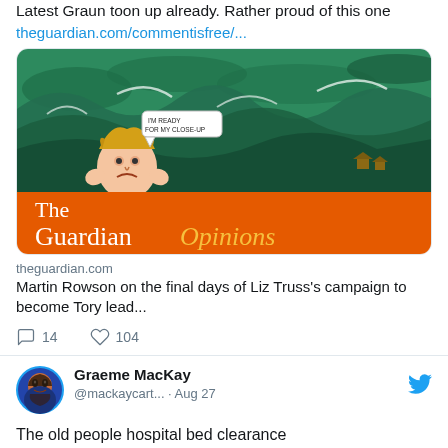Latest Graun toon up already. Rather proud of this one
theguardian.com/commentisfree/...
[Figure (illustration): The Guardian Opinions cartoon by Martin Rowson showing a figure amid stormy waves with speech bubble 'I'M READY FOR MY CLOSE-UP' and The Guardian Opinions orange banner]
theguardian.com
Martin Rowson on the final days of Liz Truss's campaign to become Tory lead...
14 comments, 104 likes
Graeme MacKay @mackaycart... · Aug 27
The old people hospital bed clearance movers/haulers/warehousers | Aug 27